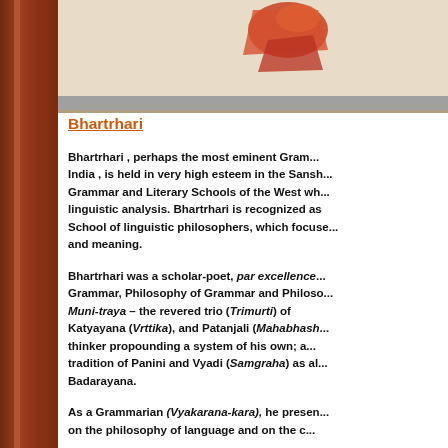[Figure (illustration): Partial view of an illustrated image at the top of the page, showing a figure with red/orange elements on a beige background, with a grey bar at the bottom.]
Bhartrhari
Bhartrhari , perhaps the most eminent Gram... India , is held in very high esteem in the Sans... Grammar and Literary Schools of the West wh... linguistic analysis. Bhartrhari is recognized as... School of linguistic philosophers, which focuse... and meaning.
Bhartrhari was a scholar-poet, par excellence... Grammar, Philosophy of Grammar and Philoso... Muni-traya – the revered trio (Trimurti) of... Katyayana (Vrttika), and Patanjali (Mahabhash... thinker propounding a system of his own; a... tradition of Panini and Vyadi (Samgraha) as al... Badarayana.
As a Grammarian (Vyakarana-kara), he presen... on the philosophy of language and on the c...